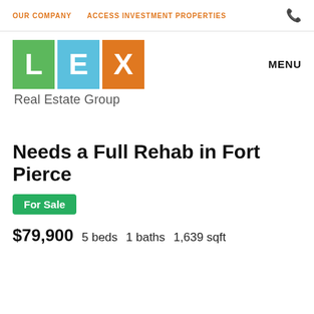OUR COMPANY   ACCESS INVESTMENT PROPERTIES
[Figure (logo): LEX Real Estate Group logo with colored letter blocks: L (green), E (blue), X (orange), with 'Real Estate Group' text below]
MENU
Needs a Full Rehab in Fort Pierce
For Sale
$79,900   5 beds   1 baths   1,639 sqft